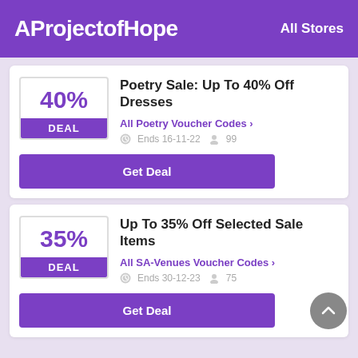AProjectofHope   All Stores
Poetry Sale: Up To 40% Off Dresses
All Poetry Voucher Codes ›
Ends 16-11-22   99
Get Deal
Up To 35% Off Selected Sale Items
All SA-Venues Voucher Codes ›
Ends 30-12-23   75
Get Deal